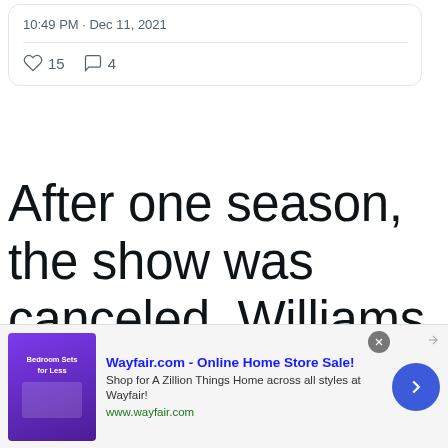10:49 PM · Dec 11, 2021
♡ 15   ◯ 4
After one season, the show was canceled. Williams later featured as a work companion of David Groh's character on three first season
[Figure (screenshot): Advertisement banner for Wayfair.com - Online Home Store Sale! with purple bedroom furniture image, description text 'Shop for A Zillion Things Home across all styles at Wayfair!' and URL www.wayfair.com, with close button and blue arrow button]